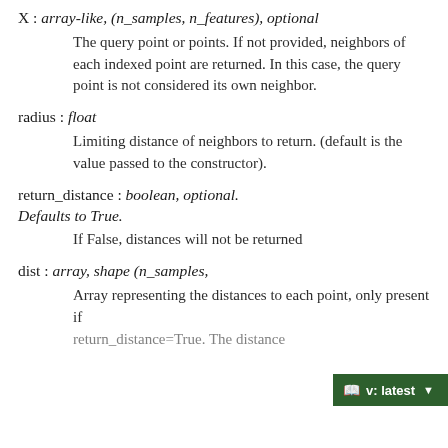X : array-like, (n_samples, n_features), optional
The query point or points. If not provided, neighbors of each indexed point are returned. In this case, the query point is not considered its own neighbor.
radius : float
Limiting distance of neighbors to return. (default is the value passed to the constructor).
return_distance : boolean, optional. Defaults to True.
If False, distances will not be returned
dist : array, shape (n_samples,
Array representing the distances to each point, only present if return_distance=True. The distance